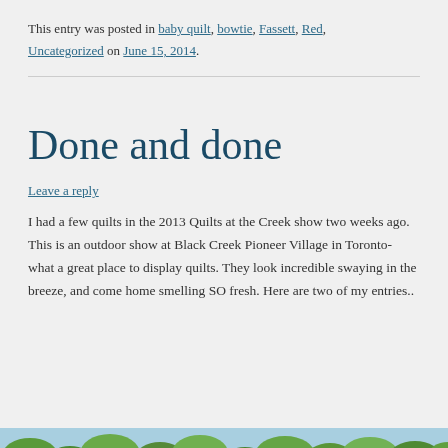This entry was posted in baby quilt, bowtie, Fassett, Red, Uncategorized on June 15, 2014.
Done and done
Leave a reply
I had a few quilts in the 2013 Quilts at the Creek show two weeks ago. This is an outdoor show at Black Creek Pioneer Village in Toronto- what a great place to display quilts. They look incredible swaying in the breeze, and come home smelling SO fresh. Here are two of my entries..
[Figure (photo): Bottom strip showing tops of trees against a blue sky, partial view of a quilt show outdoor scene]